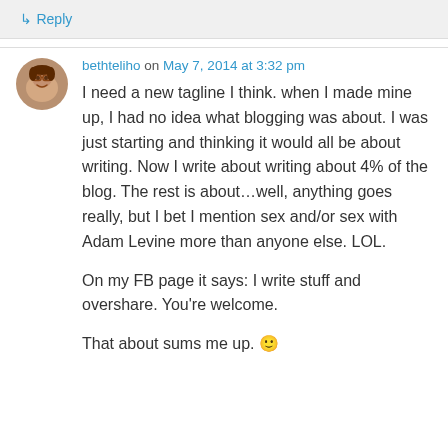↳ Reply
bethteliho on May 7, 2014 at 3:32 pm
I need a new tagline I think. when I made mine up, I had no idea what blogging was about. I was just starting and thinking it would all be about writing. Now I write about writing about 4% of the blog. The rest is about…well, anything goes really, but I bet I mention sex and/or sex with Adam Levine more than anyone else. LOL.

On my FB page it says: I write stuff and overshare. You're welcome.

That about sums me up. 🙂